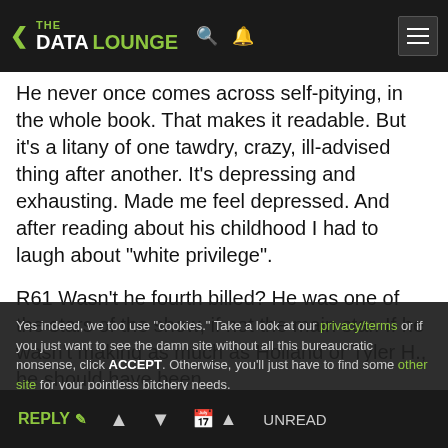THE DATA LOUNGE
He never once comes across self-pitying, in the whole book. That makes it readable. But it's a litany of one tawdry, crazy, ill-advised thing after another. It's depressing and exhausting. Made me feel depressed. And after reading about his childhood I had to laugh about "white privilege".
R61 Wasn't he fourth billed? He was one of the stars of the show, if not the main star. If he wasn't making as much as Holland or Tyler H., he should have been.
By the way among the people he thanks in the back of the book are "Brandon F." and "Tyler H."
Yes indeed, we too use "cookies." Take a look at our privacy/terms or if you just want to see the damn site without all this bureaucratic nonsense, click ACCEPT. Otherwise, you'll just have to find some other site for your pointless bitchery needs.
REPLY | up | down | calendar | UNREAD